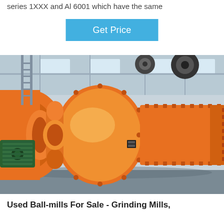series 1XXX and Al 6001 which have the same
[Figure (other): Get Price button — a sky-blue rectangular button with white text reading 'Get Price']
[Figure (photo): Industrial orange ball mill grinding machine in a factory setting, large cylindrical drum with bolted flanges visible, green motor on the left side, industrial hall background with steel beams and skylights]
Used Ball-mills For Sale - Grinding Mills,